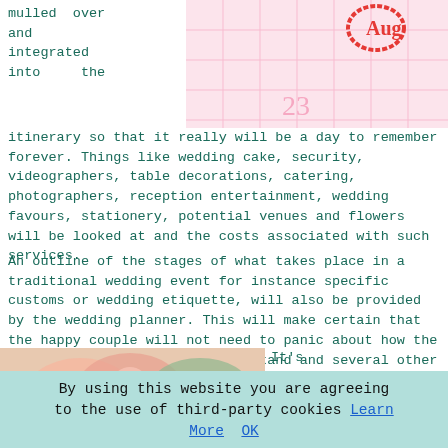[Figure (photo): Pink calendar with a circled date, showing a wedding date highlighted in red/pink with the number 23 visible]
mulled over and integrated into the itinerary so that it really will be a day to remember forever. Things like wedding cake, security, videographers, table decorations, catering, photographers, reception entertainment, wedding favours, stationery, potential venues and flowers will be looked at and the costs associated with such services.
An outline of the stages of what takes place in a traditional wedding event for instance specific customs or wedding etiquette, will also be provided by the wedding planner. This will make certain that the happy couple will not need to panic about how the speeches are ordered where to stand and several other points that may cause anxiety on the big day.
[Figure (photo): Pink and peach roses with eucalyptus leaves, and a white card with text 'list' visible]
It's vitally important to choose a wedding
By using this website you are agreeing to the use of third-party cookies Learn More  OK